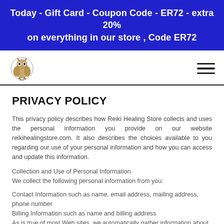Today - Gift Card - Coupon Code - ER72 - extra 20% on everything in our store , Code ER72
[Figure (logo): Reiki Healing Store owl logo]
PRIVACY POLICY
This privacy policy describes how Reiki Healing Store collects and uses the personal information you provide on our website reikihealingstore.com. It also describes the choices available to you regarding our use of your personal information and how you can access and update this information.
Collection and Use of Personal Information
We collect the following personal information from you:
Contact Information such as name, email address, mailing address, phone number
Billing Information such as name and billing address
As is true of most Web sites, we automatically gather information about your computer such as your IP address, browser type, referring/exit pages, and operating system.